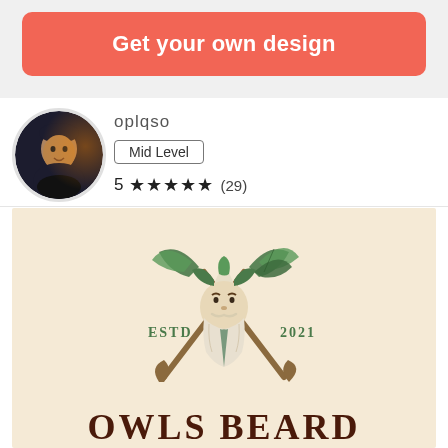Get your own design
oplqso
Mid Level
5 ★★★★★ (29)
[Figure (logo): Owls Beard logo: a wizard/gnome face with beard, crossed shovels/tools behind, leaves on sides, text ESTD 2021 on either side, and OWLS BEARD in large serif text below. Cream/beige background.]